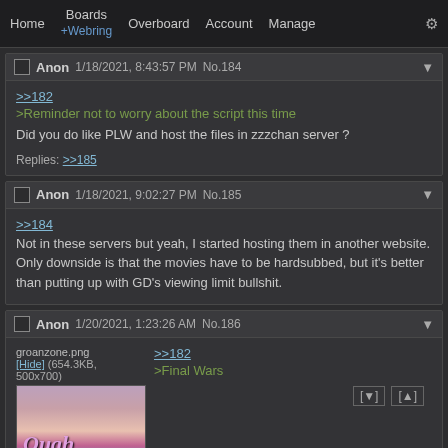Home  Boards +Webring  Overboard  Account  Manage  ⚙
Anon 1/18/2021, 8:43:57 PM No.184
>>182
>Reminder not to worry about the script this time
Did you do like PLW and host the files in zzzchan server ?
Replies: >>185
Anon 1/18/2021, 9:02:27 PM No.185
>>184
Not in these servers but yeah, I started hosting them in another website. Only downside is that the movies have to be hardsubbed, but it's better than putting up with GD's viewing limit bullshit.
Anon 1/20/2021, 1:23:26 AM No.186
[Figure (photo): Thumbnail image labeled groanzone.png (654.3KB, 500x700), showing a movie cover with a young woman and stylized text reading 'Ouch']
>>182
>Final Wars